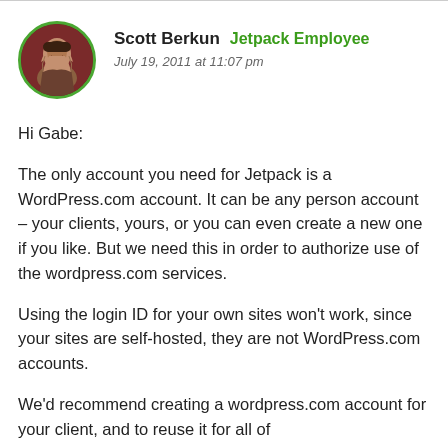[Figure (photo): Circular avatar photo of Scott Berkun with green border, showing a man with beard]
Scott Berkun  Jetpack Employee
July 19, 2011 at 11:07 pm
Hi Gabe:
The only account you need for Jetpack is a WordPress.com account. It can be any person account – your clients, yours, or you can even create a new one if you like. But we need this in order to authorize use of the wordpress.com services.
Using the login ID for your own sites won't work, since your sites are self-hosted, they are not WordPress.com accounts.
We'd recommend creating a wordpress.com account for your client, and to reuse it for all of